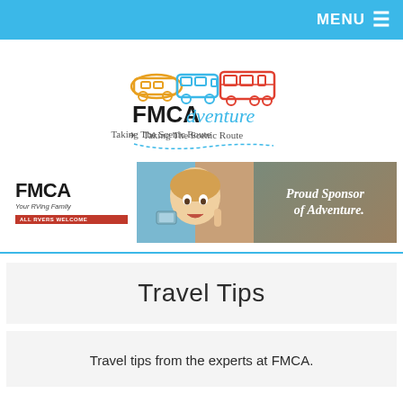MENU
[Figure (logo): FMCAdventure logo — colorful RV vehicle outlines above bold text 'FMCA' with 'dventure' in cursive blue, subtitle 'Taking The Scenic Route']
[Figure (infographic): FMCA banner ad: white left panel with 'FMCA Your RVing Family ALL RVERS WELCOME', center photo of child, right dark panel with text 'Proud Sponsor of Adventure.']
Travel Tips
Travel tips from the experts at FMCA.